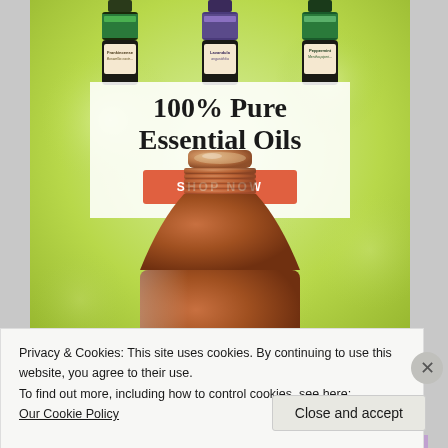[Figure (photo): Advertisement banner for 100% Pure Essential Oils showing three small essential oil bottles (Frankincense Boswellia carterii, Lavandula angustifolia, Peppermint Mentha piperita) at top, a large amber essential oil bottle below, on a green bokeh background. Includes '100% Pure Essential Oils' title text and orange 'SHOP NOW' button.]
Privacy & Cookies: This site uses cookies. By continuing to use this website, you agree to their use.
To find out more, including how to control cookies, see here:
Our Cookie Policy
Close and accept